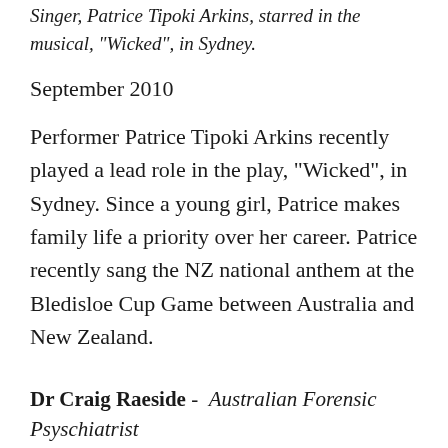Singer, Patrice Tipoki Arkins, starred in the musical, "Wicked", in Sydney.
September 2010
Performer Patrice Tipoki Arkins recently played a lead role in the play, "Wicked", in Sydney. Since a young girl, Patrice makes family life a priority over her career. Patrice recently sang the NZ national anthem at the Bledisloe Cup Game between Australia and New Zealand.
Dr Craig Raeside - Australian Forensic Psyschiatrist